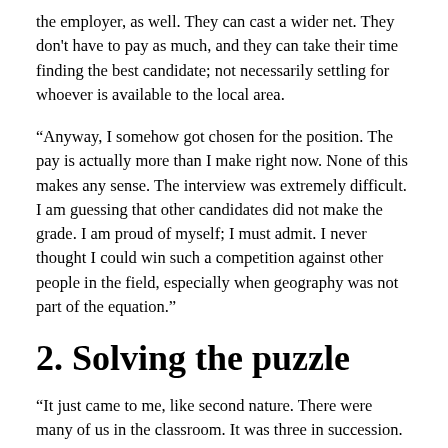the employer, as well. They can cast a wider net. They don't have to pay as much, and they can take their time finding the best candidate; not necessarily settling for whoever is available to the local area.
“Anyway, I somehow got chosen for the position. The pay is actually more than I make right now. None of this makes any sense. The interview was extremely difficult. I am guessing that other candidates did not make the grade. I am proud of myself; I must admit. I never thought I could win such a competition against other people in the field, especially when geography was not part of the equation.”
2. Solving the puzzle
“It just came to me, like second nature. There were many of us in the classroom. It was three in succession. More so a way to pass the time than a meaningful competition. Just for fun, but I guess I was the best at solving the puzzles. I felt pretty good afterwards; people were complimenting me.”